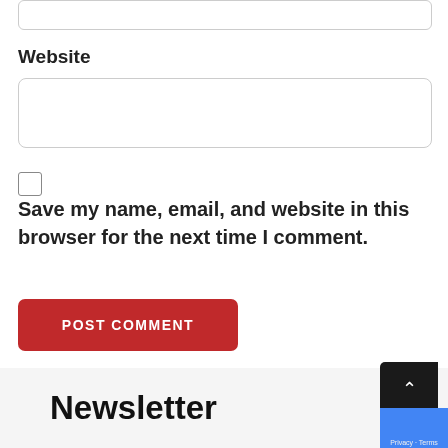[Figure (screenshot): Top portion of a text input box (cropped at top of page)]
Website
[Figure (screenshot): Empty text input field for Website]
[Figure (screenshot): Unchecked checkbox]
Save my name, email, and website in this browser for the next time I comment.
[Figure (screenshot): POST COMMENT button in red]
Newsletter
[Figure (screenshot): Scroll-to-top button (dark) and reCAPTCHA widget overlay]